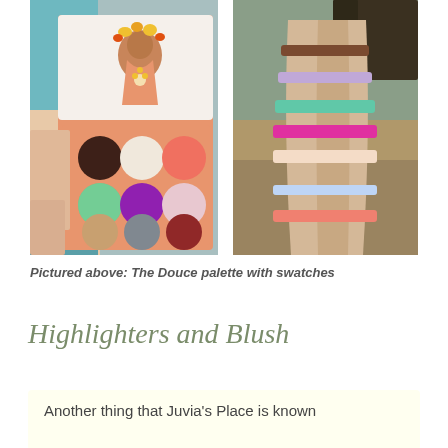[Figure (photo): A hand holding an open peach/coral-colored eyeshadow palette with 9 circular pans in a 3x3 grid. Colors include dark brown, cream/white, coral pink (top row), green shimmer, purple, light pink (middle row), tan, gray glitter, dark red/rust (bottom row). The palette lid shows an illustrated woman with flowers.]
[Figure (photo): An arm showing swatches of makeup colors in horizontal stripes. Colors from top to bottom include: brown, lavender/purple shimmer, mint/teal green, bright pink/magenta, light peach/nude shimmer, light blue shimmer, coral/salmon pink.]
Pictured above: The Douce palette with swatches
Highlighters and Blush
Another thing that Juvia's Place is known